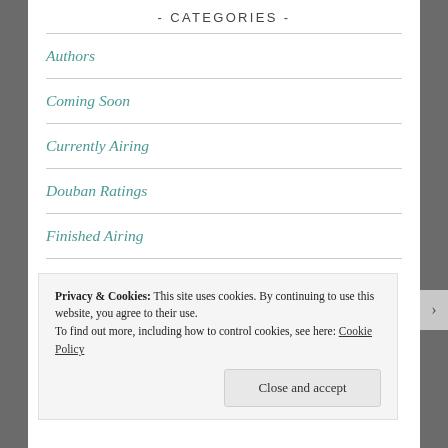- CATEGORIES -
Authors
Coming Soon
Currently Airing
Douban Ratings
Finished Airing
Folk Tale Adaptations
Privacy & Cookies: This site uses cookies. By continuing to use this website, you agree to their use.
To find out more, including how to control cookies, see here: Cookie Policy
Close and accept